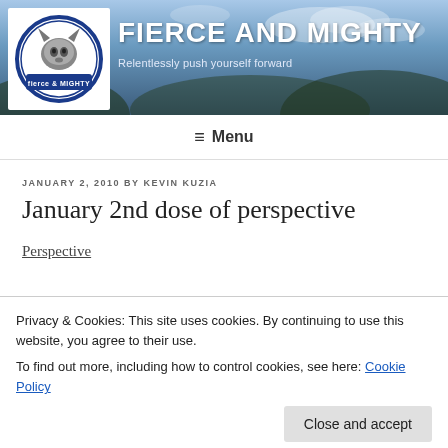[Figure (screenshot): Site header banner with mountain/sky background, wolf logo for Fierce & Mighty, site title and tagline]
FIERCE AND MIGHTY
Relentlessly push yourself forward
≡ Menu
JANUARY 2, 2010 BY KEVIN KUZIA
January 2nd dose of perspective
Perspective
Privacy & Cookies: This site uses cookies. By continuing to use this website, you agree to their use.
To find out more, including how to control cookies, see here: Cookie Policy
Close and accept
1. the technique of representing three-dimensional objects on a plane or curved surface the spatial